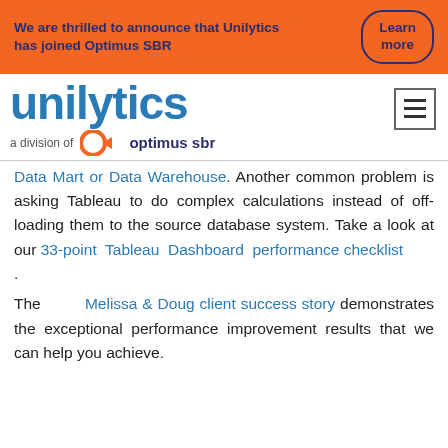We are thrilled to announce that Unilytics has joined Optimus SBR  Learn more
[Figure (logo): Unilytics logo — 'unilytics' in blue, 'a division of optimus sbr' below with orange Optimus SBR icon]
Data Mart or Data Warehouse. Another common problem is asking Tableau to do complex calculations instead of off-loading them to the source database system. Take a look at our 33-point Tableau Dashboard performance checklist .
The Melissa & Doug client success story demonstrates the exceptional performance improvement results that we can help you achieve.